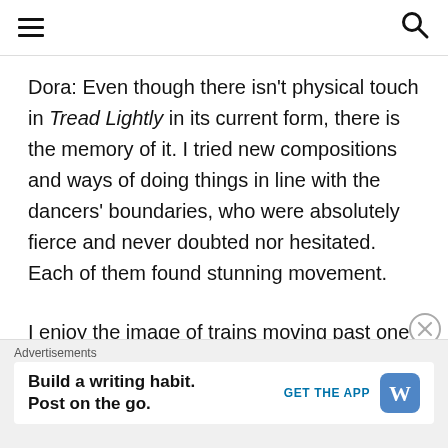[hamburger menu] [search icon]
Dora: Even though there isn't physical touch in Tread Lightly in its current form, there is the memory of it. I tried new compositions and ways of doing things in line with the dancers' boundaries, who were absolutely fierce and never doubted nor hesitated. Each of them found stunning movement.
I enjoy the image of trains moving past one another; the illusion of touch is there without it being evident physically. This is applicable to movement. You can
Advertisements — Build a writing habit. Post on the go. GET THE APP [WordPress logo]